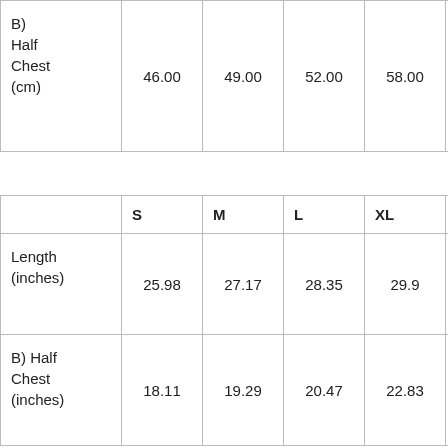|  | S | M | L | XL | 2XL |
| --- | --- | --- | --- | --- | --- |
| B) Half Chest (cm) | 46.00 | 49.00 | 52.00 | 58.00 | 61.0 |
|  | S | M | L | XL | 2XL |
| --- | --- | --- | --- | --- | --- |
| Length (inches) | 25.98 | 27.17 | 28.35 | 29.9 | 30.7 |
| B) Half Chest (inches) | 18.11 | 19.29 | 20.47 | 22.83 | 24.0 |